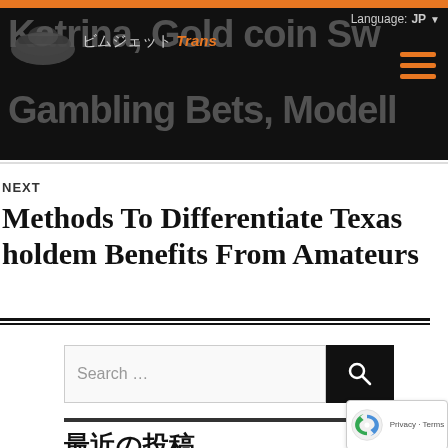Katrina, Gold coin Switch, Gambling Bets, Modell — BimJet Trans (logo) — Language: JP
NEXT
Methods To Differentiate Texas holdem Benefits From Amateurs
Search ...
最近の投稿